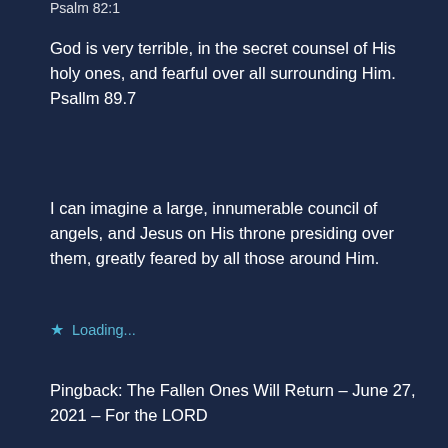Psalm 82:1
God is very terrible, in the secret counsel of His holy ones, and fearful over all surrounding Him.
Psallm 89.7
I can imagine a large, innumerable council of angels, and Jesus on His throne presiding over them, greatly feared by all those around Him.
★ Loading...
Pingback: The Fallen Ones Will Return – June 27, 2021 – For the LORD